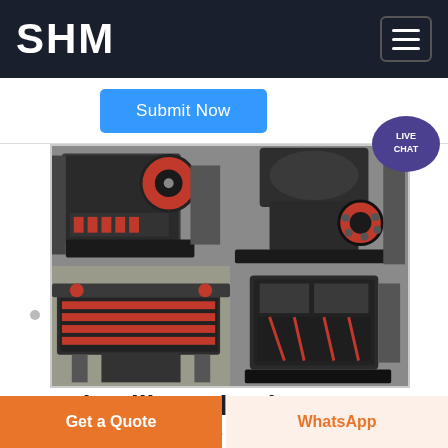SHM
[Figure (screenshot): Submit Now button with blue background in a form area]
[Figure (photo): 2x2 grid of industrial crushing and grinding machinery photos showing jaw crushers, cone crushers, and impact crushers in a factory setting]
Lab Mills and Lab Grinders
Find new and used lab mills and grinders at LabX
Get a Quote
WhatsApp